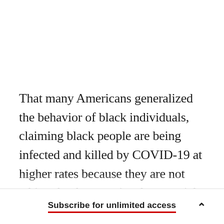That many Americans generalized the behavior of black individuals, claiming black people are being infected and killed by COVID-19 at higher rates because they are not taking the threat seriously or social distancing appropriately, should not be surprising. “The message of social distancing doesn’t
Subscribe for unlimited access